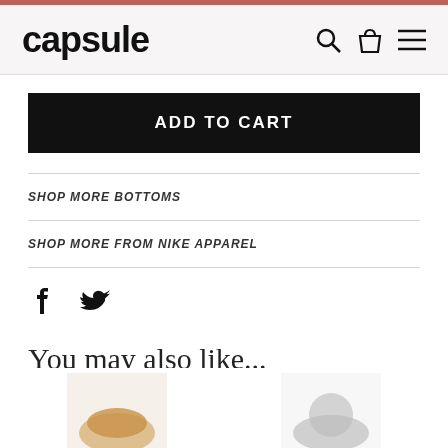capsule
ADD TO CART
SHOP MORE BOTTOMS
SHOP MORE FROM NIKE APPAREL
[Figure (logo): Facebook and Twitter social icons]
You may also like...
[Figure (photo): Product preview images at bottom of page]